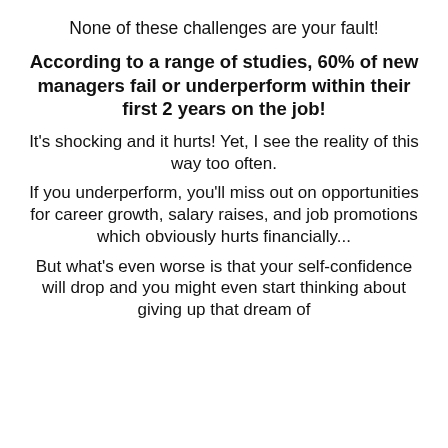None of these challenges are your fault!
According to a range of studies, 60% of new managers fail or underperform within their first 2 years on the job!
It's shocking and it hurts! Yet, I see the reality of this way too often.
If you underperform, you'll miss out on opportunities for career growth, salary raises, and job promotions which obviously hurts financially...
But what's even worse is that your self-confidence will drop and you might even start thinking about giving up that dream of